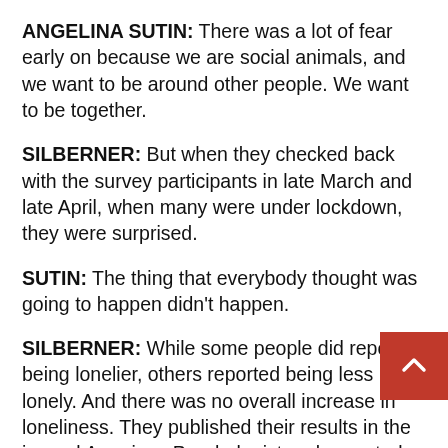ANGELINA SUTIN: There was a lot of fear early on because we are social animals, and we want to be around other people. We want to be together.
SILBERNER: But when they checked back with the survey participants in late March and late April, when many were under lockdown, they were surprised.
SUTIN: The thing that everybody thought was going to happen didn't happen.
SILBERNER: While some people did report being lonelier, others reported being less lonely. And there was no overall increase in loneliness. They published their results in the journal American Psychologist and repeated the survey in July again, no jump in loneliness. Sutin says it look her like the efforts people made to stay connected